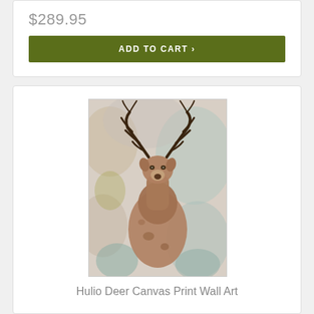$289.95
ADD TO CART ›
[Figure (illustration): Watercolor-style painting of a red deer stag facing forward with large antlers, painted in soft muted tones of beige, pink, brown, and teal.]
Hulio Deer Canvas Print Wall Art
$289.95